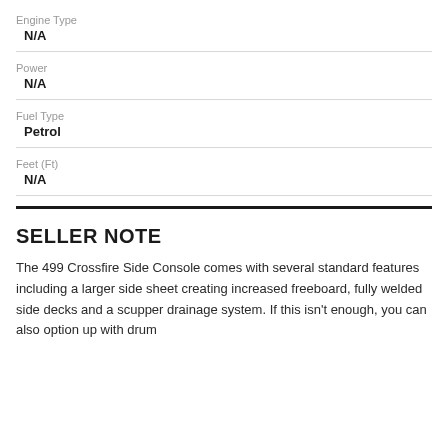Engine Type
N/A
Power
N/A
Fuel Type
Petrol
Feet (Ft)
N/A
SELLER NOTE
The 499 Crossfire Side Console comes with several standard features including a larger side sheet creating increased freeboard, fully welded side decks and a scupper drainage system. If this isn't enough, you can also option up with drum